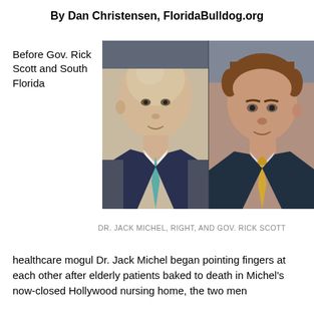By Dan Christensen, FloridaBulldog.org
Before Gov. Rick Scott and South Florida
[Figure (photo): Side-by-side photo of two men: left side shows Gov. Rick Scott, a bald man in a suit with a teal tie; right side shows Dr. Jack Michel, a man with brown hair in a suit with a yellow/gold tie.]
DR. JACK MICHEL, RIGHT, AND GOV. RICK SCOTT
healthcare mogul Dr. Jack Michel began pointing fingers at each other after elderly patients baked to death in Michel's now-closed Hollywood nursing home, the two men